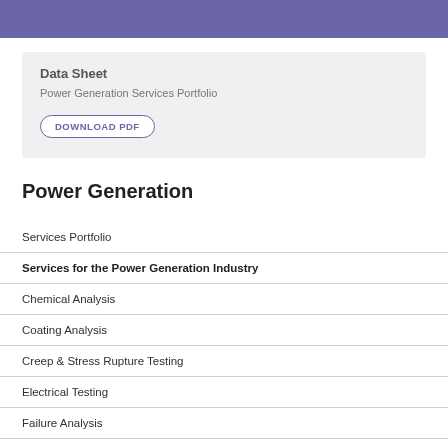Data Sheet
Power Generation Services Portfolio
DOWNLOAD PDF
Power Generation
Services Portfolio
Services for the Power Generation Industry
Chemical Analysis
Coating Analysis
Creep & Stress Rupture Testing
Electrical Testing
Failure Analysis